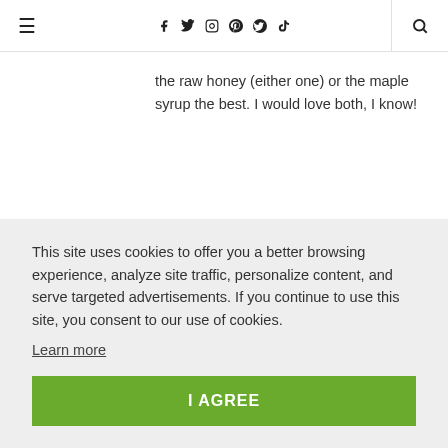≡  f  𝕥  ○  ⊕  G+  ◎  🔍
the raw honey (either one) or the maple syrup the best. I would love both, I know!
This site uses cookies to offer you a better browsing experience, analyze site traffic, personalize content, and serve targeted advertisements. If you continue to use this site, you consent to our use of cookies.
Learn more
I AGREE